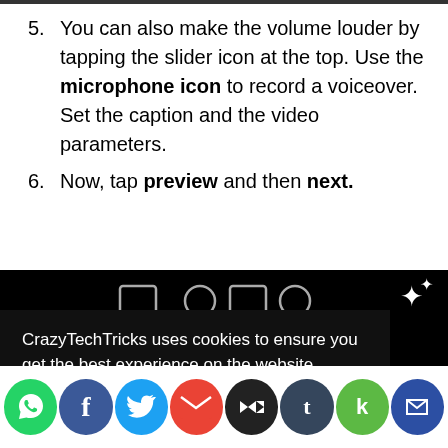5. You can also make the volume louder by tapping the slider icon at the top. Use the microphone icon to record a voiceover. Set the caption and the video parameters.
6. Now, tap preview and then next.
[Figure (screenshot): Dark screenshot of a mobile app interface showing toolbar icons, overlaid by a cookie consent dialog. The cookie notice reads: 'CrazyTechTricks uses cookies to ensure you get the best experience on the website.' with a 'Know more' link and an OKAY button. Below is a social media share bar with icons for WhatsApp, Facebook, Twitter, Gmail, Buffer, Tumblr, Kik, and another service.]